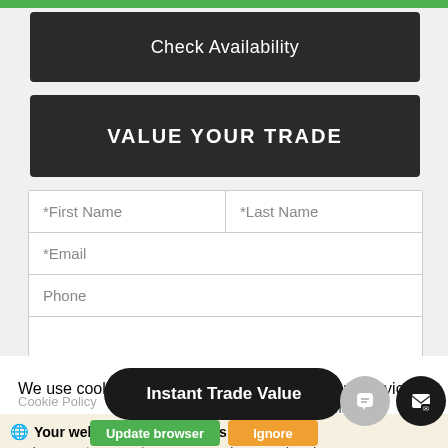[Figure (screenshot): Green horizontal bar at the top of the page]
Check Availability
VALUE YOUR TRADE
[Figure (screenshot): Web form with fields: *First Name, *Last Name, *Email, Phone, and a textarea]
We use cookies to optimize our website and our service.
Cookie Policy   Privacy Statement
Your web browser (iOS 11) is out of date.
Update your browser for more security, speed and
Instant Trade Value
Update browser
Ignore